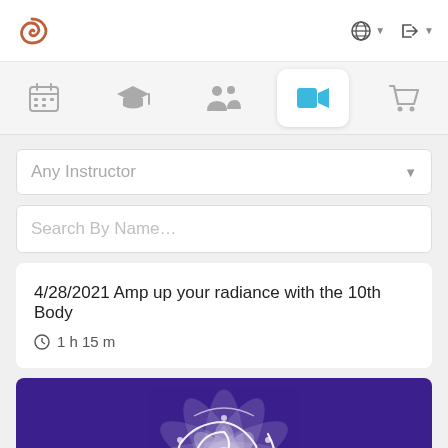Navigation bar with logo, globe icon, and login icon
[Figure (screenshot): Icon navigation bar with calendar, graduation cap, community, video camera (active/selected), and shopping cart icons]
Any Instructor
Search By Name...
4/28/2021 Amp up your radiance with the 10th Body
1 h 15 m
[Figure (illustration): Purple background card with white mandala/geometric ornamental design]